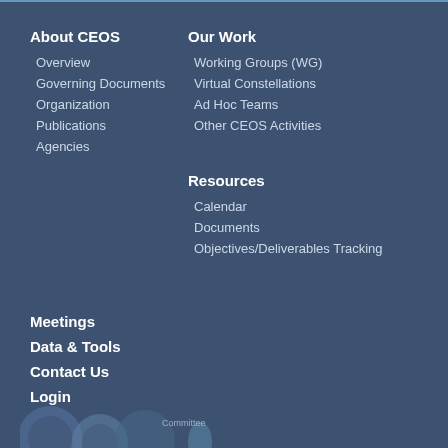About CEOS
Overview
Governing Documents
Organization
Publications
Agencies
Our Work
Working Groups (WG)
Virtual Constellations
Ad Hoc Teams
Other CEOS Activities
Resources
Calendar
Documents
Objectives/Deliverables Tracking
Meetings
Data & Tools
Contact Us
Login
[Figure (logo): CEOS logo at bottom left, partially visible]